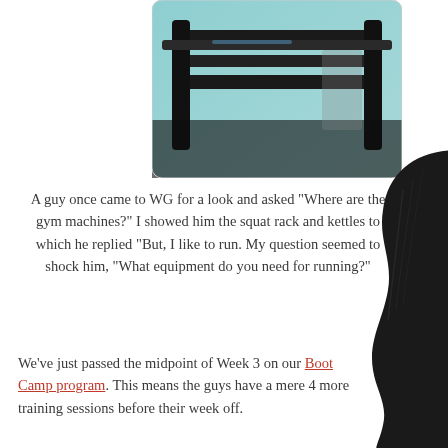[Figure (photo): Photograph of gym equipment — appears to show a squat rack or barbell, dark metal equipment against a light background with teal/blue tones]
A guy once came to WG for a look and asked "Where are the gym machines?" I showed him the squat rack and kettles to which he replied "But, I like to run. My question seemed to shock him, "What equipment do you need for running?"
We've just passed the midpoint of Week 3 on our Boot Camp program. This means the guys have a mere 4 more training sessions before their week off.
[Figure (illustration): Black silhouette illustration of a person's head/hair profile on the right side of the page]